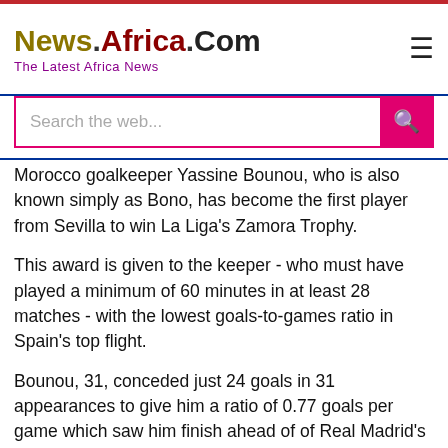News.Africa.Com — The Latest Africa News
Morocco goalkeeper Yassine Bounou, who is also known simply as Bono, has become the first player from Sevilla to win La Liga's Zamora Trophy.
This award is given to the keeper - who must have played a minimum of 60 minutes in at least 28 matches - with the lowest goals-to-games ratio in Spain's top flight.
Bounou, 31, conceded just 24 goals in 31 appearances to give him a ratio of 0.77 goals per game which saw him finish ahead of of Real Madrid's Thibault Courtois.
The Belgian, who helped his side win the La Liga title, let in 29 goals in his 36 matches to give him a ratio of 0.81.